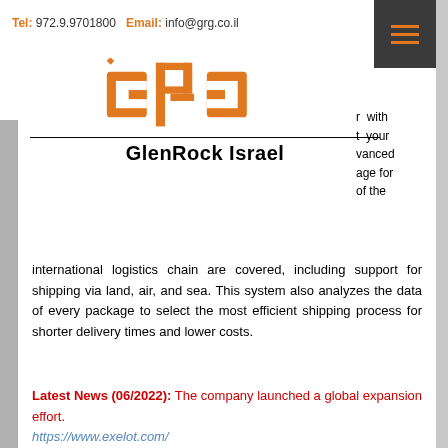Tel: 972.9.9701800  Email: info@grg.co.il
[Figure (logo): GlenRock Israel (GRG) logo in orange with stylized letters G, R, G reversed, followed by company name GlenRock Israel]
r with t your vanced age for of the international logistics chain are covered, including support for shipping via land, air, and sea. This system also analyzes the data of every package to select the most efficient shipping process for shorter delivery times and lower costs.
Latest News (06/2022): The company launched a global expansion effort.
https://www.exelot.com/
[Figure (photo): Blue rectangle image placeholder for Stargo company]
Stargo
Stargo developed an end-to-end automated solution, for freight logistics and supply chain, pricing, and shipment automation. Our innovative AI transforms unstructured information into structured data, optimizing pricing, and shipment